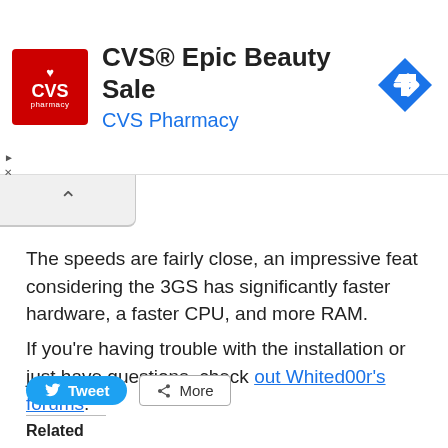[Figure (screenshot): CVS Pharmacy ad banner with red CVS logo, text 'CVS® Epic Beauty Sale' and 'CVS Pharmacy' in blue, and a blue navigation arrow icon on the right]
The speeds are fairly close, an impressive feat considering the 3GS has significantly faster hardware, a faster CPU, and more RAM.
If you're having trouble with the installation or just have questions, check out Whited00r's forums.
[Figure (screenshot): Social sharing buttons: Tweet button (blue) and More button (outlined)]
Related
[Figure (photo): Thumbnail image for related article]
Downloading Older iPhone Firmware | HOW Fi...